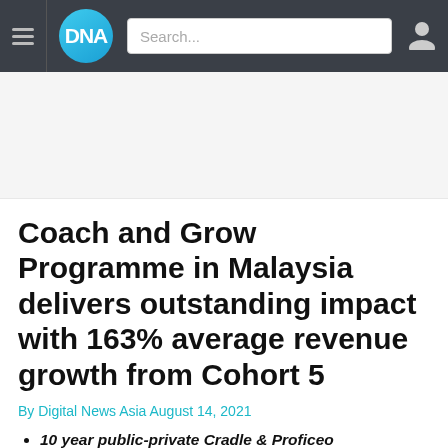DNA | Digital News Asia
[Figure (other): Advertisement/banner placeholder area]
Coach and Grow Programme in Malaysia delivers outstanding impact with 163% average revenue growth from Cohort 5
By Digital News Asia August 14, 2021
10 year public-private Cradle & Proficeo collaboration proves itself again
Best ever cohort in terms of calibre, resilience &